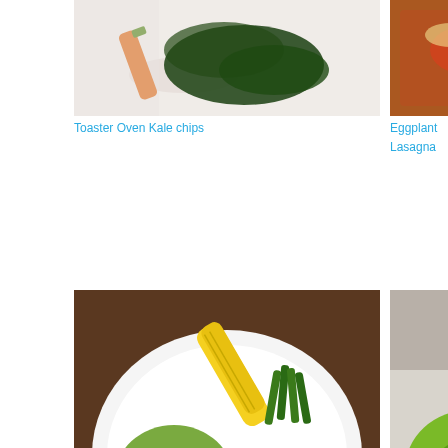[Figure (photo): Toaster oven kale chips - carrot and kale on white plate]
Toaster Oven Kale chips
[Figure (photo): Eggplant Pumpkin Lasagna - baked pasta dish with vegetables]
Eggplant        Pumpkin
Lasagna
[Figure (photo): Pesto dish - plate with corn, green beans, peas, and tomatoes]
Pesto
[Figure (photo): Apple Bread - green and red apples on counter with cup in background]
Apple Bread
[Figure (photo): Food in foil-wrapped bag or container]
[Figure (photo): Breaded protein with broccoli and butter on plate with fork]